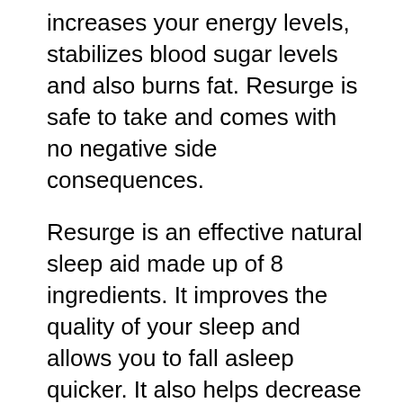increases your energy levels, stabilizes blood sugar levels and also burns fat. Resurge is safe to take and comes with no negative side consequences.
Resurge is an effective natural sleep aid made up of 8 ingredients. It improves the quality of your sleep and allows you to fall asleep quicker. It also helps decrease anxiety and stress. It promotes deep sleep and blocks ammonia from being produced during deep sleep. It also reduces the production of aging hormones when you're sleeping. It's an excellent supplement for people who don't get a complete seven or eight hours of rest at night.
Resurge is a wonderful supplement for